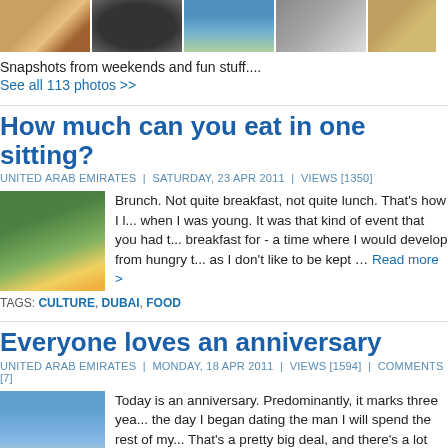[Figure (photo): Strip of 5 thumbnail photos]
Snapshots from weekends and fun stuff....
See all 113 photos >>
How much can you eat in one sitting?
UNITED ARAB EMIRATES | SATURDAY, 23 APR 2011 | VIEWS [1350]
[Figure (photo): Person at brunch holding food outdoors]
Brunch. Not quite breakfast, not quite lunch. That's how I ... when I was young. It was that kind of event that you had to... breakfast for - a time where I would develop from hungry t... as I don't like to be kept ... Read more >
TAGS: CULTURE, DUBAI, FOOD
Everyone loves an anniversary
UNITED ARAB EMIRATES | MONDAY, 18 APR 2011 | VIEWS [1594] | COMMENTS [7]
[Figure (photo): Person with sunglasses smiling outdoors]
Today is an anniversary. Predominantly, it marks three yea... the day I began dating the man I will spend the rest of my... That's a pretty big deal, and there's a lot more of that jour... come, including the actual 'getting married' ... Read more